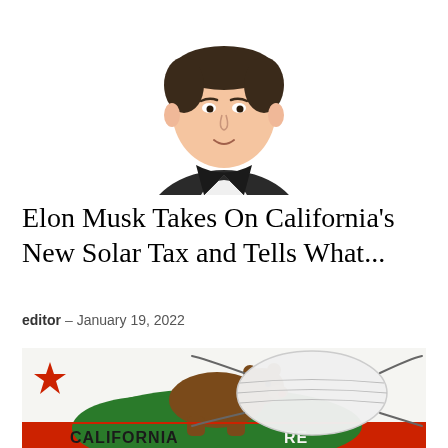[Figure (illustration): Cartoon/illustration of a man (Elon Musk) wearing a dark suit and white shirt, cropped from shoulders up, with a caricature-style drawing]
Elon Musk Takes On California's New Solar Tax and Tells What...
editor – January 19, 2022
[Figure (photo): Photo of the California Republic flag (white background, brown grizzly bear, green hill, red star, red stripe at bottom with 'CALIFORNIA REPUBLIC' text) with a white N95 face mask placed on top of it]